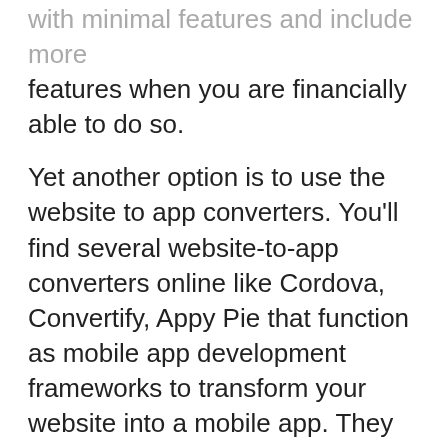with minimal features and include more features when you are financially able to do so.
Yet another option is to use the website to app converters. You'll find several website-to-app converters online like Cordova, Convertify, Appy Pie that function as mobile app development frameworks to transform your website into a mobile app. They are relatively cheap in comparison with native apps and support cross-platform development. They also allow the integration of a wide range of features and functionalities.
But should you use the website to app converters?
Incidentally, converter apps rarely produce the